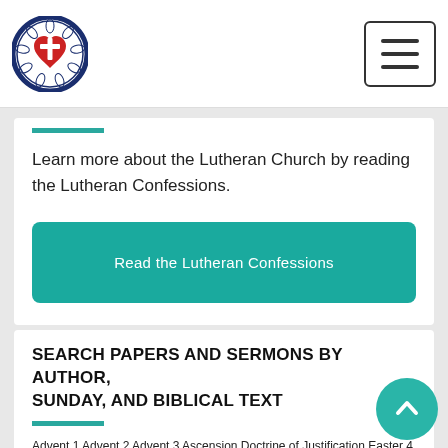[Figure (logo): Lutheran Church circular logo with cross and decorative border]
[Figure (other): Hamburger menu icon button]
Learn more about the Lutheran Church by reading the Lutheran Confessions.
Read the Lutheran Confessions
SEARCH PAPERS AND SERMONS BY AUTHOR, SUNDAY, AND BIBLICAL TEXT
Advent 1 Advent 2 Advent 3 Ascension Doctrine of Justification Easter 4 Easter 5 Easter 6 Easter Day Epiphany 1 Epiphany 2 Galatians 4 Good Shepherd